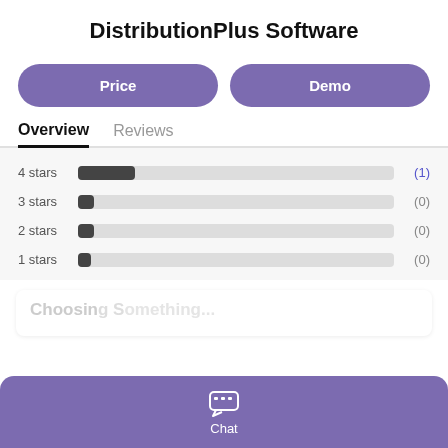DistributionPlus Software
Price
Demo
Overview
Reviews
[Figure (bar-chart): Star ratings distribution]
Chat